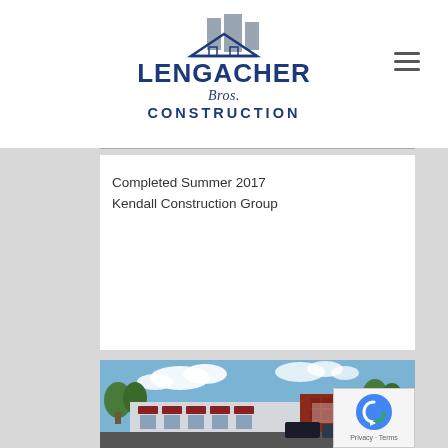[Figure (logo): Lengacher Bros. Construction company logo with building silhouette above text]
Completed Summer 2017
Kendall Construction Group
[Figure (photo): Exterior photo of a completed commercial building with awnings, brick facade, and parking lot in summer setting]